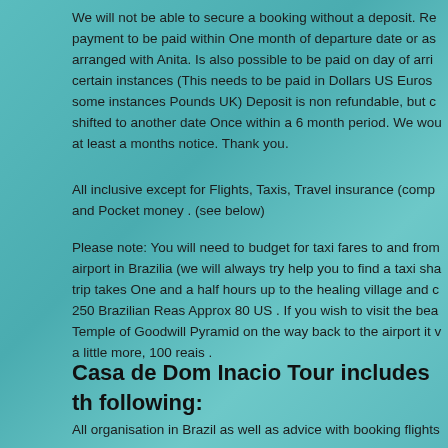We will not be able to secure a booking without a deposit. Re payment to be paid within One month of departure date or as arranged with Anita. Is also possible to be paid on day of arri certain instances (This needs to be paid in Dollars US Euros some instances Pounds UK) Deposit is non refundable, but c shifted to another date Once within a 6 month period. We wou at least a months notice. Thank you.
All inclusive except for Flights, Taxis, Travel insurance (comp and Pocket money . (see below)
Please note: You will need to budget for taxi fares to and from airport in Brazilia (we will always try help you to find a taxi sha trip takes One and a half hours up to the healing village and c 250 Brazilian Reas Approx 80 US . If you wish to visit the bea Temple of Goodwill Pyramid on the way back to the airport it v a little more, 100 reais .
Casa de Dom Inacio Tour includes th following:
All organisation in Brazil as well as advice with booking flights